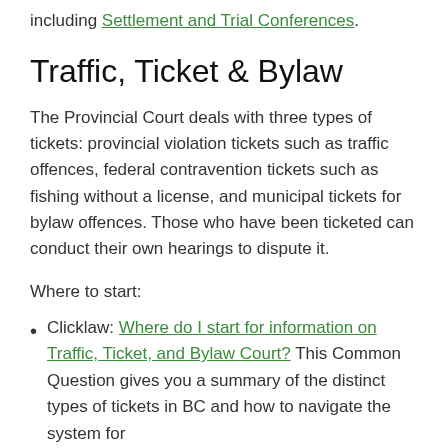including Settlement and Trial Conferences.
Traffic, Ticket & Bylaw
The Provincial Court deals with three types of tickets: provincial violation tickets such as traffic offences, federal contravention tickets such as fishing without a license, and municipal tickets for bylaw offences. Those who have been ticketed can conduct their own hearings to dispute it.
Where to start:
Clicklaw: Where do I start for information on Traffic, Ticket, and Bylaw Court? This Common Question gives you a summary of the distinct types of tickets in BC and how to navigate the system...